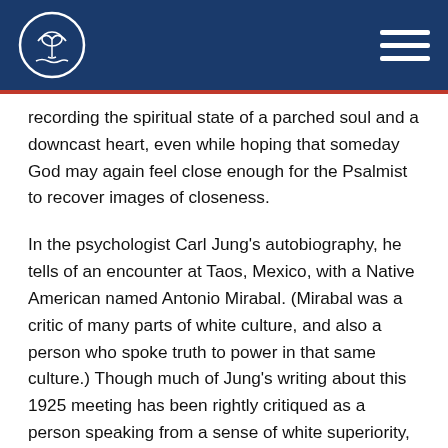recording the spiritual state of a parched soul and a downcast heart, even while hoping that someday God may again feel close enough for the Psalmist to recover images of closeness.
In the psychologist Carl Jung’s autobiography, he tells of an encounter at Taos, Mexico, with a Native American named Antonio Mirabal. (Mirabal was a critic of many parts of white culture, and also a person who spoke truth to power in that same culture.) Though much of Jung’s writing about this 1925 meeting has been rightly critiqued as a person speaking from a sense of white superiority, he nevertheless found himself moved and challenged by the conversation, especially this part:
[Mirabal said,] “How cruel the whites are; their…